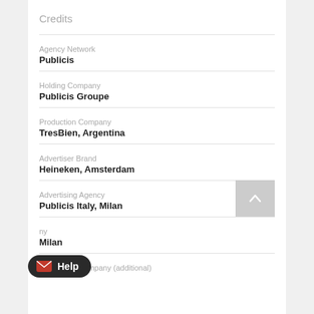Credits
Agency Network
Publicis
Holding Company
Publicis Groupe
Production Company
TresBien, Argentina
Advertiser Brand
Heineken, Amsterdam
Advertising Agency
Publicis Italy, Milan
ny
Milan
Production Company (additional)